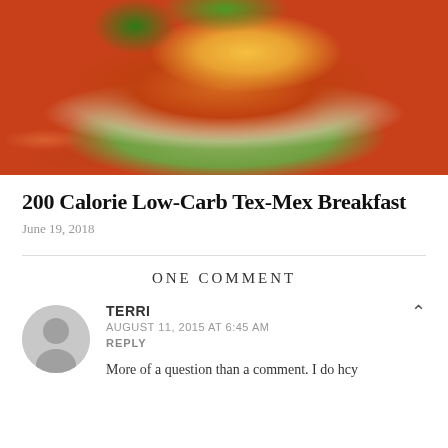[Figure (photo): Close-up photo of a layered Tex-Mex breakfast dish with roasted tomato, melted cheese, jalapeño pepper, eggs, and greens]
200 Calorie Low-Carb Tex-Mex Breakfast
June 19, 2018
ONE COMMENT
TERRI
AUGUST 11, 2015 AT 6:45 AM
REPLY

More of a question than a comment. I do hcy